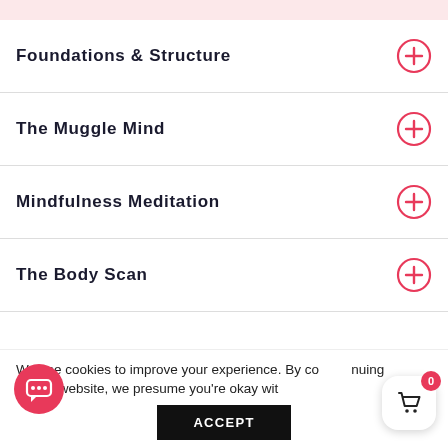Foundations & Structure
The Muggle Mind
Mindfulness Meditation
The Body Scan
We use cookies to improve your experience. By continuing to use this website, we presume you're okay with
ACCEPT